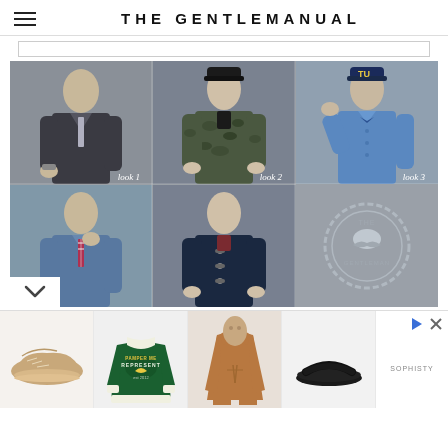THE GENTLEMANUAL
[Figure (photo): Fashion lookbook grid showing 5 male models in different outfits: look 1 (dark blazer with tie), look 2 (camo jacket with cap), look 3 (blue shirt with TU cap and bow tie), look 4 (denim shirt), look 5 (navy cardigan). Bottom right cell shows a circular badge logo.]
[Figure (photo): Advertisement strip showing 4 product images: tan suede sneakers, green varsity jacket by Represent, brown hoodie, black slides. Plus an ad control area.]